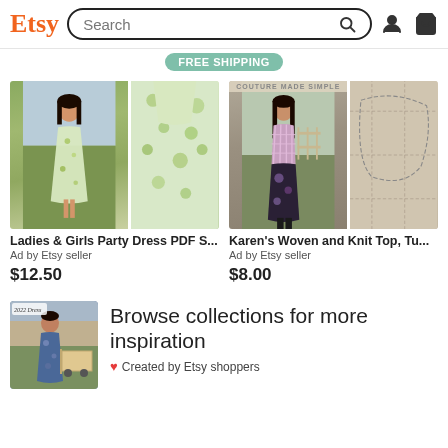Etsy  Search
FREE shipping
[Figure (photo): Ladies & Girls Party Dress PDF sewing pattern product listing with two photos of woman in floral dress]
Ladies & Girls Party Dress PDF S...
Ad by Etsy seller
$12.50
[Figure (photo): Karen's Woven and Knit Top sewing pattern product listing with photo of woman in plaid top and skirt, paper pattern visible]
Karen's Woven and Knit Top, Tu...
Ad by Etsy seller
$8.00
[Figure (photo): Woman in floral blue dress thumbnail image]
Browse collections for more inspiration
Created by Etsy shoppers